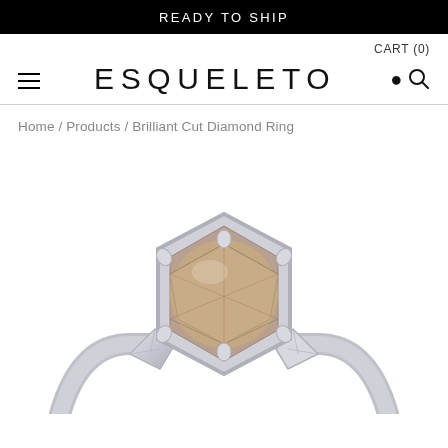READY TO SHIP
CART (0)
ESQUELETO
Home / Products / Brilliant Cut Diamond Ring
[Figure (photo): Close-up photo of a Brilliant Cut Diamond Ring with a large round champagne/brown diamond center stone set in a geometric hexagonal silver/white gold bezel with prong accents, flanked by two smaller trillion-cut diamonds on each side, on a polished silver band.]